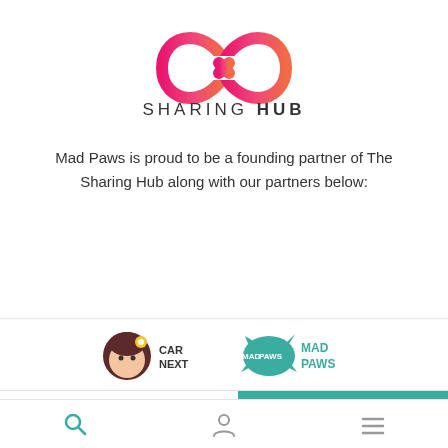[Figure (logo): Sharing Hub infinity loop logo in pink-to-red gradient]
SHARING HUB
Mad Paws is proud to be a founding partner of The Sharing Hub along with our partners below:
[Figure (logo): Partner logos: Car Next (girl with flower icon and CAR NEXT text) and Mad Paws (splash teal logo)]
$50/night
Contact Isabel
[Figure (screenshot): Bottom navigation bar with search, user, and menu icons]